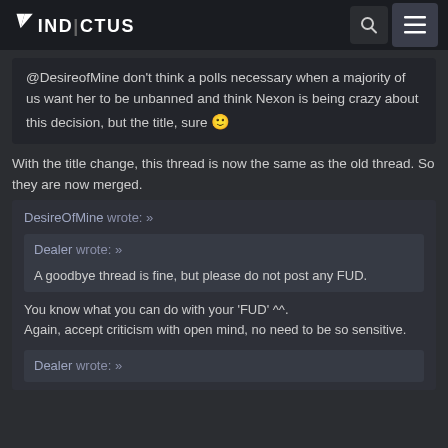VINDICTUS
@DesireofMine don't think a polls necessary when a majority of us want her to be unbanned and think Nexon is being crazy about this decision, but the title, sure 🙂
With the title change, this thread is now the same as the old thread. So they are now merged.
DesireOfMine wrote: »

  Dealer wrote: »

  A goodbye thread is fine, but please do not post any FUD.


You know what you can do with your 'FUD' ^^.
Again, accept criticism with open mind, no need to be so sensitive.

  Dealer wrote: »